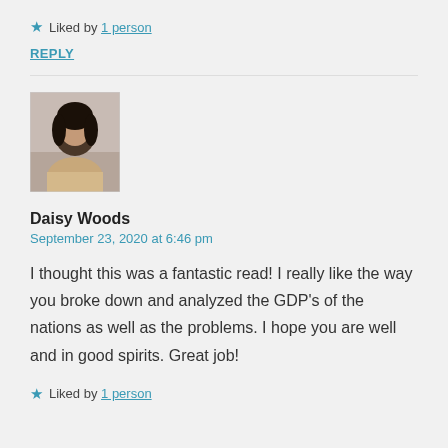★ Liked by 1 person
REPLY
[Figure (photo): Avatar photo of Daisy Woods, a woman with dark hair]
Daisy Woods
September 23, 2020 at 6:46 pm
I thought this was a fantastic read! I really like the way you broke down and analyzed the GDP's of the nations as well as the problems. I hope you are well and in good spirits. Great job!
★ Liked by 1 person